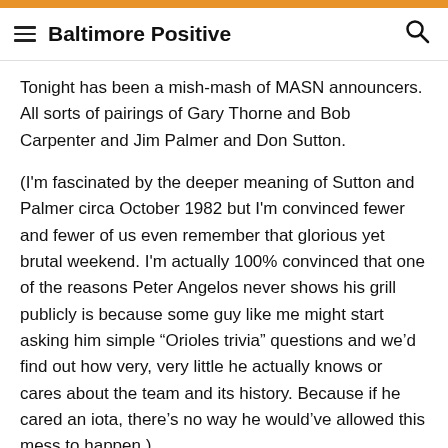Baltimore Positive
Tonight has been a mish-mash of MASN announcers. All sorts of pairings of Gary Thorne and Bob Carpenter and Jim Palmer and Don Sutton.
(I'm fascinated by the deeper meaning of Sutton and Palmer circa October 1982 but I'm convinced fewer and fewer of us even remember that glorious yet brutal weekend. I'm actually 100% convinced that one of the reasons Peter Angelos never shows his grill publicly is because some guy like me might start asking him simple “Orioles trivia” questions and we’d find out how very, very little he actually knows or cares about the team and its history. Because if he cared an iota, there’s no way he would’ve allowed this mess to happen.)
But, again, like Bob Haynie, I digress.